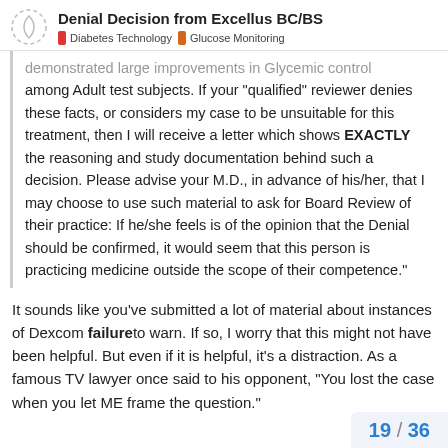Denial Decision from Excellus BC/BS | Diabetes Technology | Glucose Monitoring
demonstrated large improvements in Glycemic control among Adult test subjects. If your "qualified" reviewer denies these facts, or considers my case to be unsuitable for this treatment, then I will receive a letter which shows EXACTLY the reasoning and study documentation behind such a decision. Please advise your M.D., in advance of his/her, that I may choose to use such material to ask for Board Review of their practice: If he/she feels is of the opinion that the Denial should be confirmed, it would seem that this person is practicing medicine outside the scope of their competence."
It sounds like you've submitted a lot of material about instances of Dexcom failure to warn. If so, I worry that this might not have been helpful. But even if it is helpful, it's a distraction. As a famous TV lawyer once said to his opponent, "You lost the case when you let ME frame the question."
19 / 36